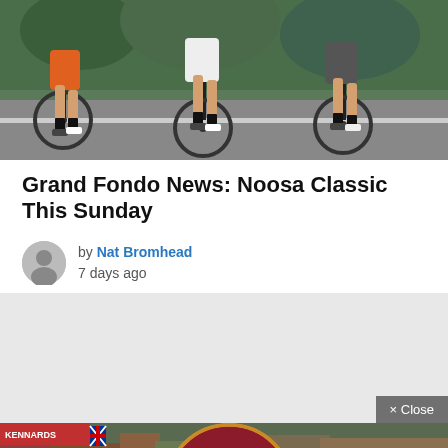[Figure (photo): Cyclists riding road bikes from a low angle perspective on a road, legs and lower bodies visible, cycling event]
Grand Fondo News: Noosa Classic This Sunday
by Nat Bromhead
7 days ago
[Figure (other): Advertisement block with light grey background and close button in bottom right corner reading '× Close']
[Figure (photo): Bowral Classic 2022 event banner showing a large crowd of cyclists at the start line with overlay text reading 'BOWRAL CLASSIC 2022 CYCLING GRAN FONDO 15-16 OCT, 2022']